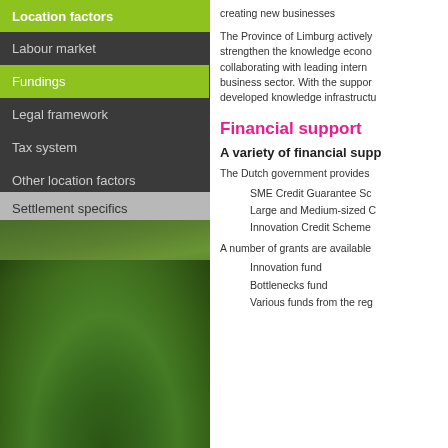Location factors
Labour market
Fundings
Legal framework
Tax system
Other location factors
Settlement specifics
[Figure (photo): Aerial view of green rolling hills and trees]
creating new businesses
The Province of Limburg actively strengthen the knowledge economy collaborating with leading international business sector. With the support developed knowledge infrastructure
Financial support
A variety of financial supp
The Dutch government provides
SME Credit Guarantee Sc
Large and Medium-sized C
Innovation Credit Scheme
A number of grants are available
Innovation fund
Bottlenecks fund
Various funds from the reg